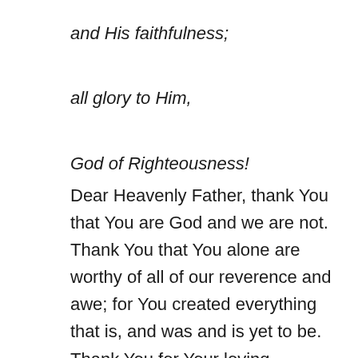and His faithfulness;

all glory to Him,

God of Righteousness!
Dear Heavenly Father, thank You that You are God and we are not. Thank You that You alone are worthy of all of our reverence and awe; for You created everything that is, and was and is yet to be. Thank You for Your loving kindness and faithfulness to us, though we deserve it not. Forgive us for getting so caught up in the chaos of life, that we don't stop to remember